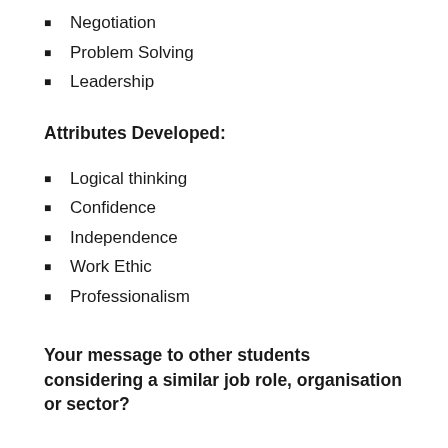Negotiation
Problem Solving
Leadership
Attributes Developed:
Logical thinking
Confidence
Independence
Work Ethic
Professionalism
Your message to other students considering a similar job role, organisation or sector?
“My internship with Challenges Online provided me with a rewarding experience of working